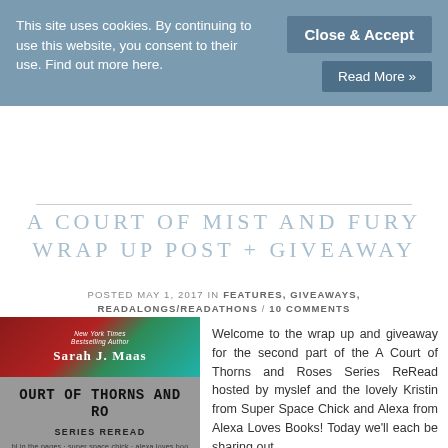This site uses cookies. By continuing to use this website, you consent to their use. Find out more here.
Close & Accept
Read More »
A COURT OF MIST AND FURY WRAP UP POST + GIVEAWAY
POSTED MAY 1, 2017 IN FEATURES, GIVEAWAYS, READALONGS/READATHONS / 10 COMMENTS
[Figure (photo): Book cover image for A Court of Thorns and Roses Series ReRead by Sarah J. Maas, showing a red-haired girl and the series reread banner]
Welcome to the wrap up and giveaway for the second part of the A Court of Thorns and Roses Series ReRead hosted by myslef and the lovely Kristin from Super Space Chick and Alexa from Alexa Loves Books! Today we'll each be sharing out